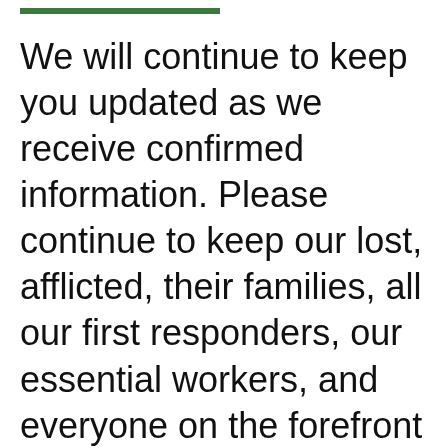We will continue to keep you updated as we receive confirmed information. Please continue to keep our lost, afflicted, their families, all our first responders, our essential workers, and everyone on the forefront